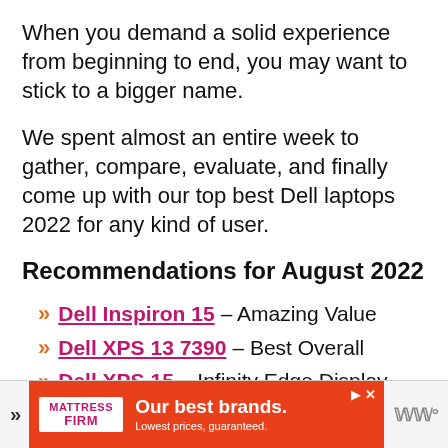When you demand a solid experience from beginning to end, you may want to stick to a bigger name.
We spent almost an entire week to gather, compare, evaluate, and finally come up with our top best Dell laptops 2022 for any kind of user.
Recommendations for August 2022
Dell Inspiron 15 – Amazing Value
Dell XPS 13 7390 – Best Overall
Dell XPS 15 – Infinity Edge Display
[Figure (other): Advertisement banner for Mattress Firm: 'Our best brands. Lowest prices, guaranteed.']